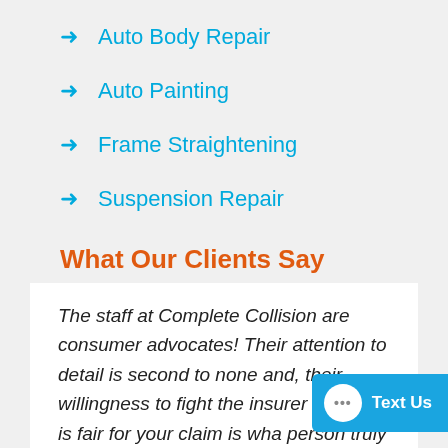Auto Body Repair
Auto Painting
Frame Straightening
Suspension Repair
What Our Clients Say
The staff at Complete Collision are consumer advocates! Their attention to detail is second to none and, their willingness to fight the insurer to what is fair for your claim is what a person truly needs in the event of a collision!